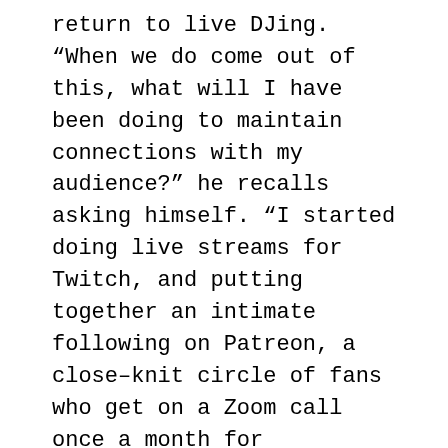return to live DJing. “When we do come out of this, what will I have been doing to maintain connections with my audience?” he recalls asking himself. “I started doing live streams for Twitch, and putting together an intimate following on Patreon, a close–knit circle of fans who get on a Zoom call once a month for performances and masterclasses. I really started multi–faceting on how to approach my connection to the community, and at the same time, my connection with my art and music, and pulling that all together into something very tight–knit.”
There was dealing with the aftermath of those Oreos, too. “When you’re touring, you’re not really able to properly structure your nutrition or your workout time, and the time off gave me the opportunity to get some discipline.” Sanchez